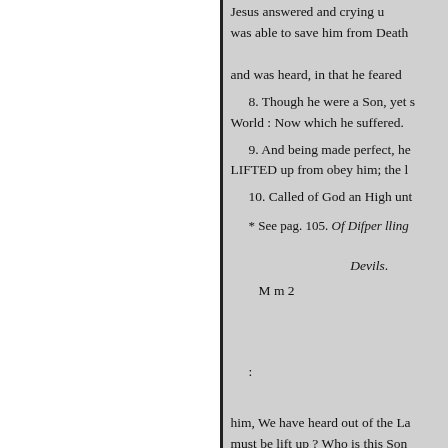Jesus answered and crying u was able to save him from Death and was heard, in that he feared
8. Though he were a Son, yet s World : Now which he suffered.
9. And being made perfect, he LIFTED up from obey him; the l
10. Called of God an High unt
* See pag. 105. Of Difper lling
Devils.
M m 2
:
him, We have heard out of the La must be lift up ? Who is this Son you; walk while ye have the Lig knoweth not whither he goeth. W of LIGHT. These Things fpake J departed, and did hide himself fr